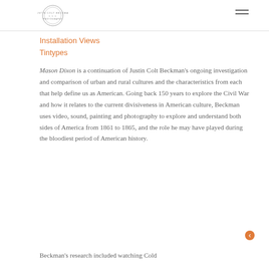Justin Colt Beckman [logo] ≡
Installation Views
Tintypes
Mason Dixon is a continuation of Justin Colt Beckman's ongoing investigation and comparison of urban and rural cultures and the characteristics from each that help define us as American. Going back 150 years to explore the Civil War and how it relates to the current divisiveness in American culture, Beckman uses video, sound, painting and photography to explore and understand both sides of America from 1861 to 1865, and the role he may have played during the bloodiest period of American history.
Beckman's research included watching Cold